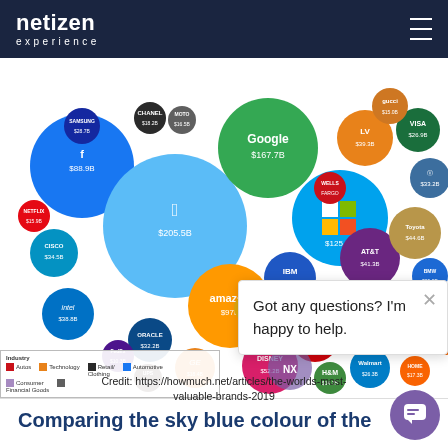netizen experience
[Figure (bubble-chart): Bubble chart showing brand values for major companies including Apple ($205.5B), Google ($167.7B), Microsoft ($125.3B), Amazon ($97B), Facebook ($88.9B), and many others, sized proportionally to brand value. Companies are color-coded by industry.]
Credit: https://howmuch.net/articles/the-worlds-most-valuable-brands-2019
Comparing the sky blue colour of the